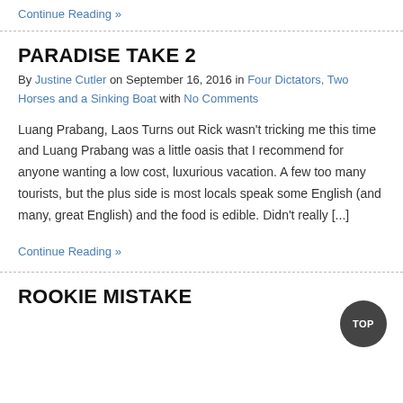Continue Reading »
PARADISE TAKE 2
By Justine Cutler on September 16, 2016 in Four Dictators, Two Horses and a Sinking Boat with No Comments
Luang Prabang, Laos Turns out Rick wasn't tricking me this time and Luang Prabang was a little oasis that I recommend for anyone wanting a low cost, luxurious vacation. A few too many tourists, but the plus side is most locals speak some English (and many, great English) and the food is edible. Didn't really [...]
Continue Reading »
ROOKIE MISTAKE